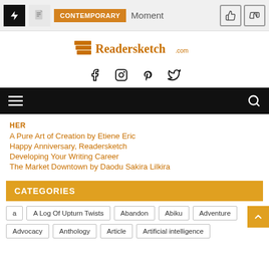CONTEMPORARY Moment
[Figure (logo): Readersketch.com logo with book stack icon]
[Figure (infographic): Social media icons: Facebook, Instagram, Pinterest, Twitter]
[Figure (infographic): Navigation bar with hamburger menu and search icon]
HER
A Pure Art of Creation by Etiene Eric
Happy Anniversary, Readersketch
Developing Your Writing Career
The Market Downtown by Daodu Sakira Lilkira
CATEGORIES
a
A Log Of Upturn Twists
Abandon
Abiku
Adventure
Advocacy
Anthology
Article
Artificial intelligence